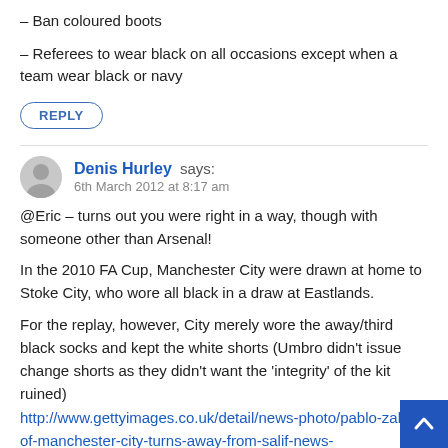– Ban coloured boots
– Referees to wear black on all occasions except when a team wear black or navy
REPLY
Denis Hurley says:
6th March 2012 at 8:17 am
@Eric – turns out you were right in a way, though with someone other than Arsenal!
In the 2010 FA Cup, Manchester City were drawn at home to Stoke City, who wore all black in a draw at Eastlands.
For the replay, however, City merely wore the away/third black socks and kept the white shorts (Umbro didn't issue change shorts as they didn't want the 'integrity' of the kit ruined) http://www.gettyimages.co.uk/detail/news-photo/pablo-zaba of-manchester-city-turns-away-from-salif-news-photo/97026162